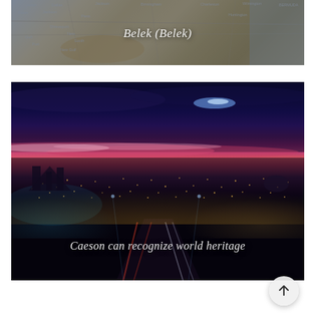[Figure (map): Partial view of a map with city names visible (Dallas, Jackson, Birmingham, Charleston, Wilmington, Huntington, Bermuda area). Overlay text reads 'Belek (Belek)' in italic white text centered on the map.]
[Figure (photo): Night cityscape photo showing a city skyline at twilight/dusk. The sky transitions from deep blue/navy at the top through dramatic pink and purple cloud streaks to dark city below. City lights spread across the middle distance. A road with car light trails leads into the city in the foreground. Text overlay reads 'Caeson can recognize world heritage' in italic white serif font.]